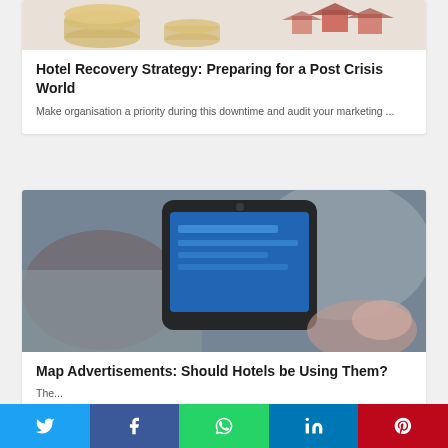[Figure (photo): Top portion of a hotel/finance related image showing coins and small red house models on a white background]
Hotel Recovery Strategy: Preparing for a Post Crisis World
Make organisation a priority during this downtime and audit your marketing ...
[Figure (photo): Close-up photograph of a smartphone with a blue screen, being held, with blurred background]
Map Advertisements: Should Hotels be Using Them?
The...